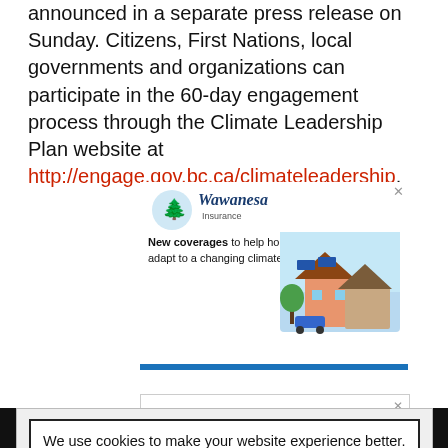announced in a separate press release on Sunday. Citizens, First Nations, local governments and organizations can participate in the 60-day engagement process through the Climate Leadership Plan website at http://engage.gov.bc.ca/climateleadership.
[Figure (infographic): Wawanesa Insurance advertisement showing logo and house illustration with text 'New coverages to help homeowners adapt to a changing climate.']
[Figure (infographic): National advertisement partial view showing red square and NATIONAL text]
We use cookies to make your website experience better. By accepting this notice and continuing to browse our website you confirm you accept our Terms of Use & Privacy Policy.

read more >>    I Accept
SAVE TIME.